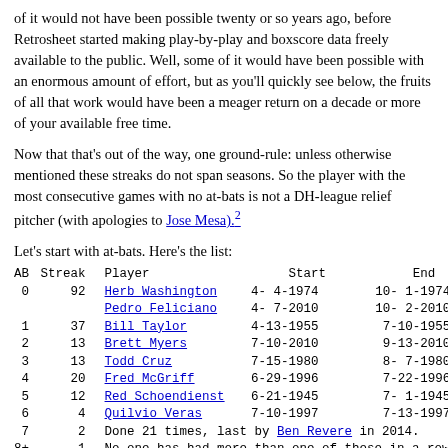of it would not have been possible twenty or so years ago, before Retrosheet started making play-by-play and boxscore data freely available to the public. Well, some of it would have been possible with an enormous amount of effort, but as you'll quickly see below, the fruits of all that work would have been a meager return on a decade or more of your available free time.
Now that that's out of the way, one ground-rule: unless otherwise mentioned these streaks do not span seasons. So the player with the most consecutive games with no at-bats is not a DH-league relief pitcher (with apologies to Jose Mesa).2
Let's start with at-bats. Here's the list:
| AB | Streak | Player | Start | End |
| --- | --- | --- | --- | --- |
| 0 | 92 | Herb Washington | 4- 4-1974 | 10- 1-1974 |
|  |  | Pedro Feliciano | 4- 7-2010 | 10- 2-2010 |
| 1 | 37 | Bill Taylor | 4-13-1955 | 7-10-1955 |
| 2 | 13 | Brett Myers | 7-10-2010 | 9-13-2010 |
| 3 | 13 | Todd Cruz | 7-15-1980 | 8- 7-1980 |
| 4 | 20 | Fred McGriff | 6-29-1996 | 7-22-1996 |
| 5 | 12 | Red Schoendienst | 6-21-1945 | 7- 1-1945(2) |
| 6 | 4 | Quilvio Veras | 7-10-1997 | 7-13-1997 |
| 7 | 2 | Done 21 times, last by Ben Revere in 2014. |  |  |
| 8+ | 1 | No one has had more than one of these in a row |  |  |
One thing that surprised me was that there was a single record-